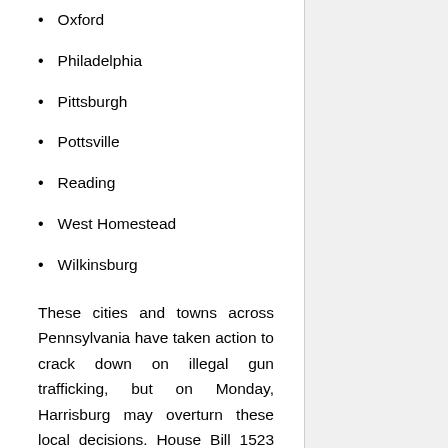Oxford
Philadelphia
Pittsburgh
Pottsville
Reading
West Homestead
Wilkinsburg
These cities and towns across Pennsylvania have taken action to crack down on illegal gun trafficking, but on Monday, Harrisburg may overturn these local decisions. House Bill 1523 threatens to punish cities and towns for taking local action to crack down on illegal gun traffickers and straw purchasers. Philadelphia and the other cities could face financial penalties for